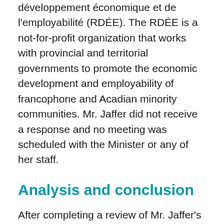développement économique et de l'employabilité (RDÉE). The RDÉE is a not-for-profit organization that works with provincial and territorial governments to promote the economic development and employability of francophone and Acadian minority communities. Mr. Jaffer did not receive a response and no meeting was scheduled with the Minister or any of her staff.
Analysis and conclusion
After completing a review of Mr. Jaffer's activities on behalf of the RDÉE, the Investigations Directorate concluded that Mr. Jaffer communicated with federal public office holders in respect of subjects listed in subparagraph 5(1)(a)(v) of the Act, that is, the